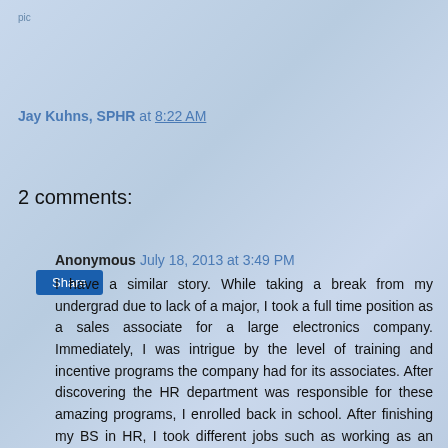pic
Jay Kuhns, SPHR at 8:22 AM
Share
2 comments:
Anonymous July 18, 2013 at 3:49 PM
I have a similar story. While taking a break from my undergrad due to lack of a major, I took a full time position as a sales associate for a large electronics company. Immediately, I was intrigue by the level of training and incentive programs the company had for its associates. After discovering the HR department was responsible for these amazing programs, I enrolled back in school. After finishing my BS in HR, I took different jobs such as working as an admission rep for a local college to eventually